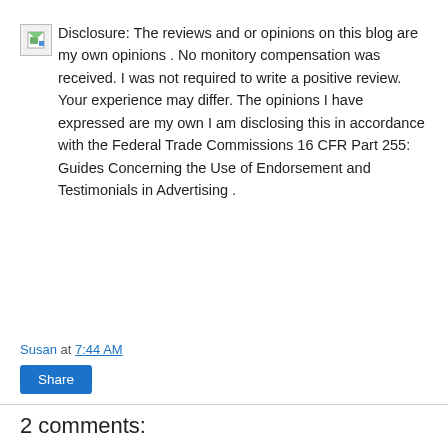Disclosure: The reviews and or opinions on this blog are my own opinions . No monitory compensation was received. I was not required to write a positive review. Your experience may differ. The opinions I have expressed are my own I am disclosing this in accordance with the Federal Trade Commissions 16 CFR Part 255: Guides Concerning the Use of Endorsement and Testimonials in Advertising .
Susan at 7:44 AM
Share
2 comments:
Sandy Cain said...